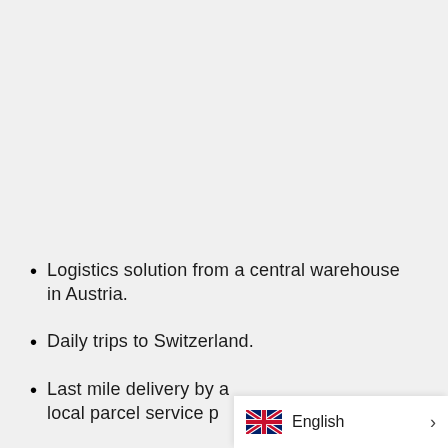Logistics solution from a central warehouse
in Austria.
Daily trips to Switzerland.
Last mile delivery by a local parcel service p…